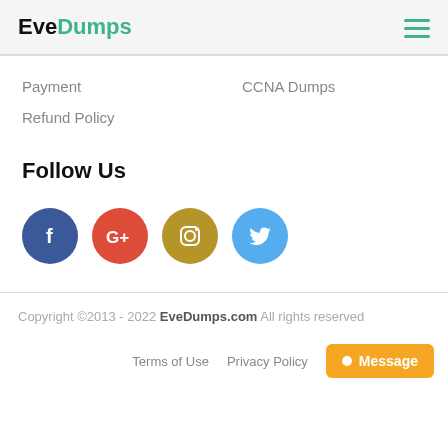EveDumps
Payment
CCNA Dumps
Refund Policy
Follow Us
[Figure (illustration): Social media icons: Facebook (blue circle with f), Google+ (red circle with G+), Instagram (gold circle with camera), Twitter (light blue circle with bird)]
Copyright ©2013 - 2022 EveDumps.com All rights reserved
Terms of Use   Privacy Policy   Message